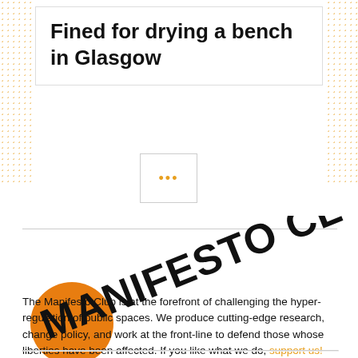Fined for drying a bench in Glasgow
[Figure (logo): Manifesto Club logo: orange circle with 'MANIFESTO CLUB' text in bold black, the text angled diagonally upward]
The Manifesto Club is at the forefront of challenging the hyper-regulation of public spaces. We produce cutting-edge research, change policy, and work at the front-line to defend those whose liberties have been affected. If you like what we do, support us!